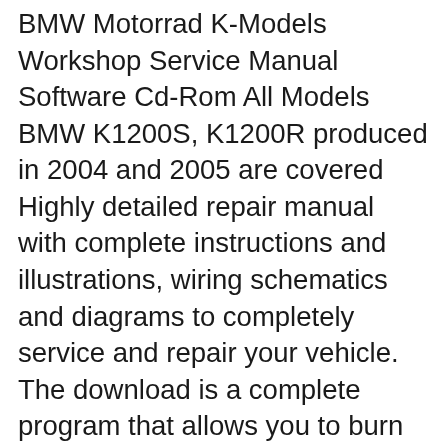BMW Motorrad K-Models Workshop Service Manual Software Cd-Rom All Models BMW K1200S, K1200R produced in 2004 and 2005 are covered Highly detailed repair manual with complete instructions and illustrations, wiring schematics and diagrams to completely service and repair your vehicle. The download is a complete program that allows you to burn to CDRom or view on your computer. 2002-2009 BMW K1200GT/K1200R/K1200S Motorbike Workshop Repair Service Manual BEST DOWNLOAD This highly detailed Manual for your 2002-2003-2004-2005-2006-2..... Download 23.99 USD
06/03/2013B B· This entry was posted in